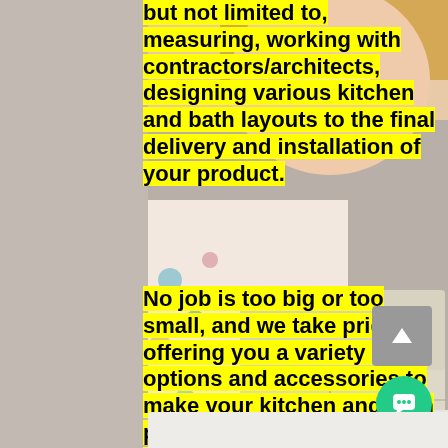[Figure (photo): Background photo of a smiling woman with blonde hair wearing a floral blouse, holding a cream-colored bag/portfolio. The photo spans the full page.]
but not limited to, measuring, working with contractors/architects, designing various kitchen and bath layouts to the final delivery and installation of your product. No job is too big or too small, and we take pride in offering you a variety of options and accessories to make your kitchen and bath practical, functional, and impressive, yet won't break the bank. We are competitive and aggressive in the marketplace so you know you're getting the best deal in town.